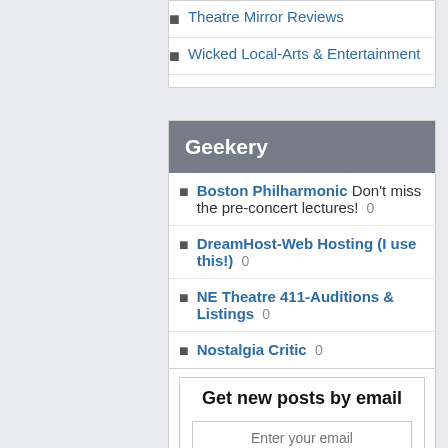Theatre Mirror Reviews
Wicked Local-Arts & Entertainment
Geekery
Boston Philharmonic Don't miss the pre-concert lectures! 0
DreamHost-Web Hosting (I use this!) 0
NE Theatre 411-Auditions & Listings 0
Nostalgia Critic 0
TED Talks 0
Volunteer Lawyers for the Arts 0
Get new posts by email
Enter your email